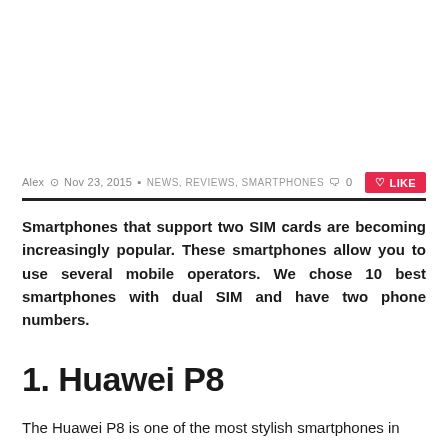Alex  Nov 23, 2015  NEWS, REVIEWS, SMARTPHONES  0
Smartphones that support two SIM cards are becoming increasingly popular. These smartphones allow you to use several mobile operators. We chose 10 best smartphones with dual SIM and have two phone numbers.
1. Huawei P8
The Huawei P8 is one of the most stylish smartphones in